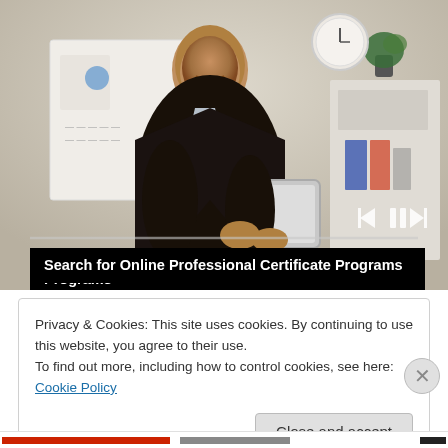[Figure (screenshot): Video thumbnail showing a professional Black man in a dark suit holding a tablet, smiling at the camera, with an office background. Video player controls (skip back, pause, skip forward) visible at the bottom right, and a progress bar. The video title overlay reads 'Search for Online Professional Certificate Programs'.]
Search for Online Professional Certificate Programs
Privacy & Cookies: This site uses cookies. By continuing to use this website, you agree to their use.
To find out more, including how to control cookies, see here: Cookie Policy
Close and accept